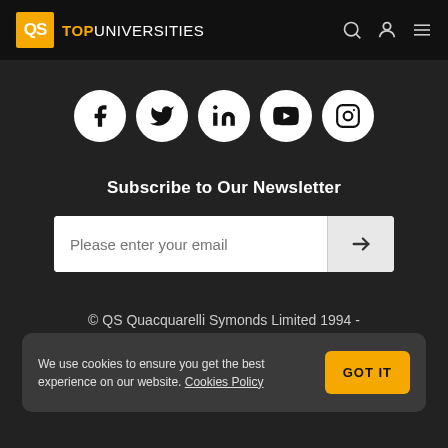QS TOP UNIVERSITIES
[Figure (logo): Five social media icons in white circles: Facebook, Twitter, LinkedIn, YouTube, Instagram]
Subscribe to Our Newsletter
Please enter your email
© QS Quacquarelli Symonds Limited 1994 - 2023. All rights reserved.
We use cookies to ensure you get the best experience on our website. Cookies Policy GOT IT